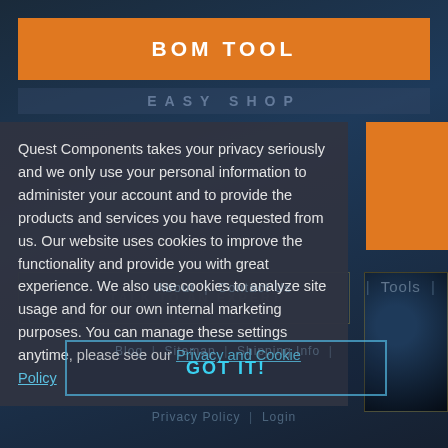BOM TOOL
Quest Components takes your privacy seriously and we only use your personal information to administer your account and to provide the products and services you have requested from us. Our website uses cookies to improve the functionality and provide you with great experience. We also use cookies to analyze site usage and for our own internal marketing purposes. You can manage these settings anytime, please see our Privacy and Cookie Policy
GOT IT!
Blog | Sitemap | Shipping Info | About | Contact Us | Tools | Privacy Policy | Login